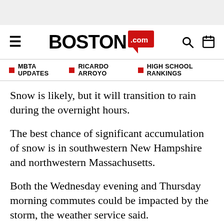Boston.com navigation header with hamburger menu, logo, search and calendar icons
MBTA UPDATES | RICARDO ARROYO | HIGH SCHOOL RANKINGS
Snow is likely, but it will transition to rain during the overnight hours.
The best chance of significant accumulation of snow is in southwestern New Hampshire and northwestern Massachusetts.
Both the Wednesday evening and Thursday morning commutes could be impacted by the storm, the weather service said.
The forecasters say another storm could hit